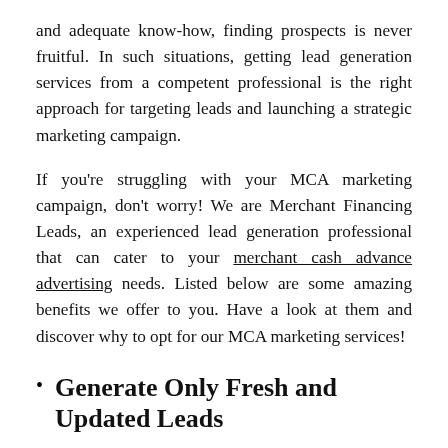and adequate know-how, finding prospects is never fruitful. In such situations, getting lead generation services from a competent professional is the right approach for targeting leads and launching a strategic marketing campaign.
If you're struggling with your MCA marketing campaign, don't worry! We are Merchant Financing Leads, an experienced lead generation professional that can cater to your merchant cash advance advertising needs. Listed below are some amazing benefits we offer to you. Have a look at them and discover why to opt for our MCA marketing services!
Generate Only Fresh and Updated Leads